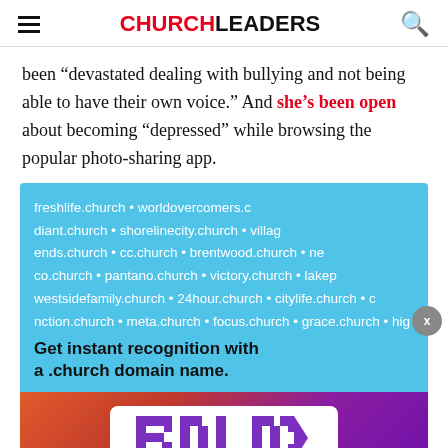CHURCHLEADERS
been “devastated dealing with bullying and not being able to have their own voice.” And she’s been open about becoming “depressed” while browsing the popular photo-sharing app.
[Figure (infographic): Church domain name advertisement showing church website URLs on a blue background and text 'Get instant recognition with a .church domain name.' with a close (x) button.]
[Figure (infographic): BOLD Youth 2023 Daytona Beach FL advertisement banner with purple BOLD logo on colorful gradient background.]